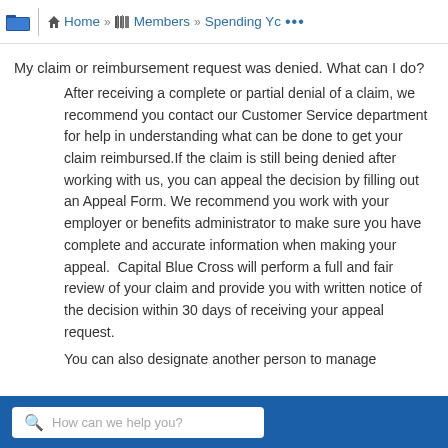Home » Members » Spending Yc ...
My claim or reimbursement request was denied. What can I do?
After receiving a complete or partial denial of a claim, we recommend you contact our Customer Service department for help in understanding what can be done to get your claim reimbursed.If the claim is still being denied after working with us, you can appeal the decision by filling out an Appeal Form. We recommend you work with your employer or benefits administrator to make sure you have complete and accurate information when making your appeal.  Capital Blue Cross will perform a full and fair review of your claim and provide you with written notice of the decision within 30 days of receiving your appeal request.
You can also designate another person to manage
How can we help you?